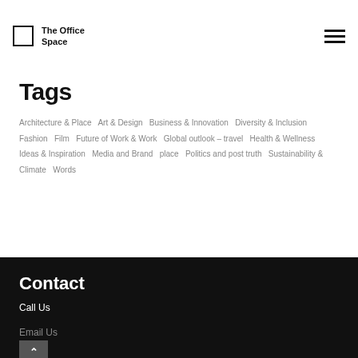The Office Space
Tags
Architecture & Place  Art & Design  Business & Innovation  Diversity & Inclusion  Fashion  Film  Future of Work & Work  Global outlook – travel  Health & Wellness  Ideas & Inspiration  Media and Brand  place  Politics and post truth  Sustainability & Climate  Words
Contact
Call Us
Email Us
Enquiry Form